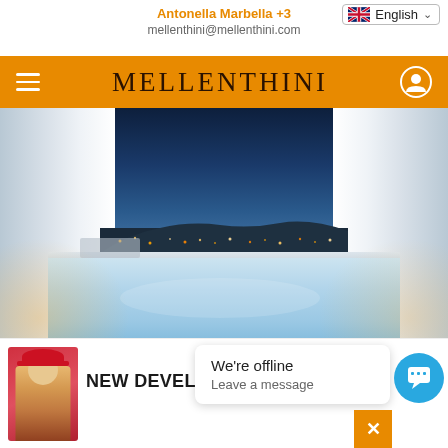Antonella Marbella +3...
mellenthini@mellenthini.com
[Figure (screenshot): Mellenthini website screenshot showing orange navigation bar with brand name MELLENTHINI, hero image of luxury pool/jacuzzi with city lights view at dusk, and bottom bar with NEW DEVELO... text and chat popup saying We're offline / Leave a message]
We're offline
Leave a message
NEW DEVELO...